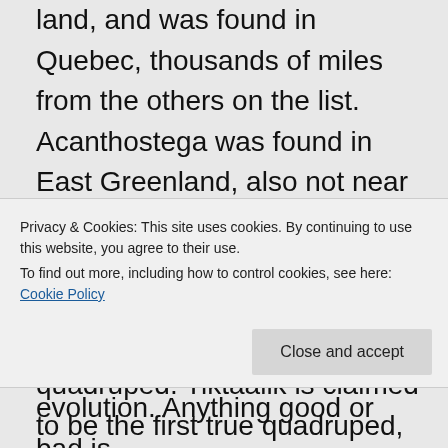land, and was found in Quebec, thousands of miles from the others on the list. Acanthostega was found in East Greenland, also not near the others. Tiktaalik and Acanthostega both have eight “digits” in their fore-fins, which doesn’t match any vertebrate quadruped. Tiktaalik is claimed to be the first true quadruped, the find of the millennium! It made the finder a rich
Privacy & Cookies: This site uses cookies. By continuing to use this website, you agree to their use.
To find out more, including how to control cookies, see here: Cookie Policy
evolution. Anything good or bad is